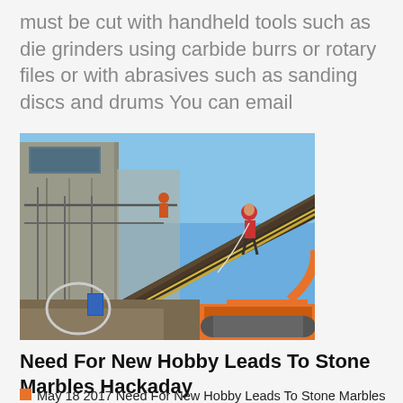must be cut with handheld tools such as die grinders using carbide burrs or rotary files or with abrasives such as sanding discs and drums You can email
[Figure (photo): Construction workers on scaffolding and a large diagonal beam at a building site under a clear blue sky, with an orange excavator visible at the bottom right.]
Need For New Hobby Leads To Stone Marbles Hackaday
May 18 2017 Need For New Hobby Leads To Stone Marbles Tom Lange said he was looking for a new